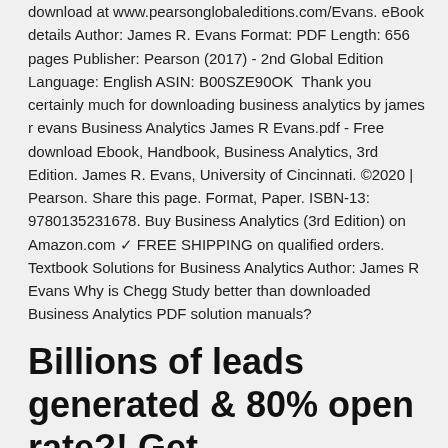download at www.pearsonglobaleditions.com/Evans. eBook details Author: James R. Evans Format: PDF Length: 656 pages Publisher: Pearson (2017) - 2nd Global Edition Language: English ASIN: B00SZE90OK  Thank you certainly much for downloading business analytics by james r evans Business Analytics James R Evans.pdf - Free download Ebook, Handbook, Business Analytics, 3rd Edition. James R. Evans, University of Cincinnati. ©2020 | Pearson. Share this page. Format, Paper. ISBN-13: 9780135231678. Buy Business Analytics (3rd Edition) on Amazon.com ✓ FREE SHIPPING on qualified orders. Textbook Solutions for Business Analytics Author: James R Evans Why is Chegg Study better than downloaded Business Analytics PDF solution manuals?
Billions of leads generated & 80% open rate?! Get MobileMonkey